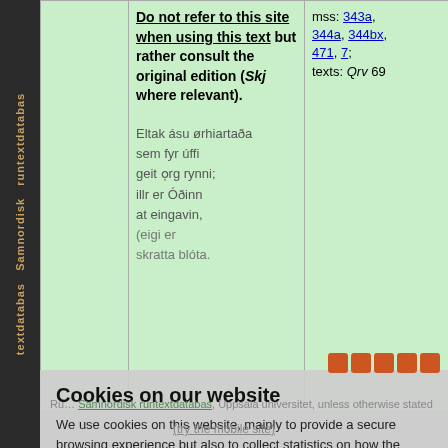|  | Warning / Text | Manuscripts |
| --- | --- | --- |
|  | Do not refer to this site when using this text but rather consult the original edition (Skj where relevant).

Eltak ásu ørhiartaða sem fyr úffi geit org rynni; illr er Óðinn at eingavin, (eigi er skratta blóta. | mss: 343a, 344a, 344bx, 471, 7; texts: Qrv 69 |
Cookies on our website
We use cookies on this website, mainly to provide a secure browsing experience but also to collect statistics on how the website is used. You can find out more about the cookies we set, the information we store and how we use it on the cookies page.
Continue
Runic text databas, Samnordisk runtextdatabas, Uppsala universitet, unless otherwise stated
(try the mobile site)